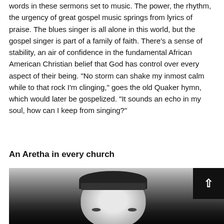words in these sermons set to music. The power, the rhythm, the urgency of great gospel music springs from lyrics of praise. The blues singer is all alone in this world, but the gospel singer is part of a family of faith. There's a sense of stability, an air of confidence in the fundamental African American Christian belief that God has control over every aspect of their being. "No storm can shake my inmost calm while to that rock I'm clinging," goes the old Quaker hymn, which would later be gospelized. "It sounds an echo in my soul, how can I keep from singing?"
An Aretha in every church
[Figure (photo): Black and white photograph of a woman, cropped to show her face and top of head with a short styled haircut with bangs, looking slightly upward. Dark background.]